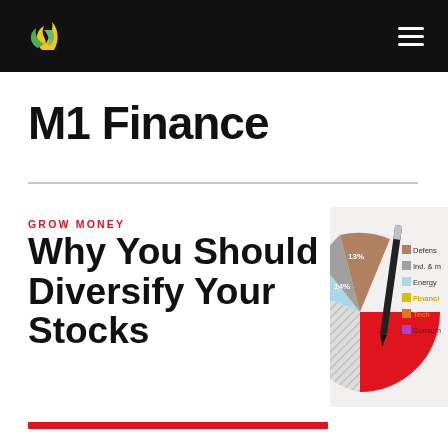M1 Finance — navigation header with logo and menu
M1 Finance
GROW MONEY
Why You Should Diversify Your Stocks
[Figure (pie-chart): Partial pie chart showing portfolio diversification by sector: 13% slice, 14% slice, and other slices including Defensive, Ind. & M, Energy, Financial, Tech, Consumer sectors. A pen/pencil is visible over the chart. Partially cropped on right edge.]